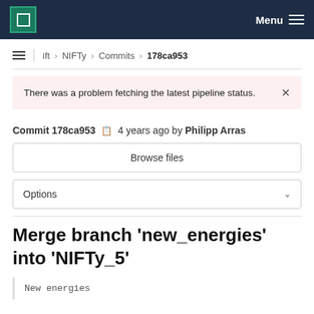MPCDF — Menu
ift › NIFTy › Commits › 178ca953
There was a problem fetching the latest pipeline status.
Commit 178ca953  4 years ago by Philipp Arras
Browse files
Options
Merge branch 'new_energies' into 'NIFTy_5'
New energies